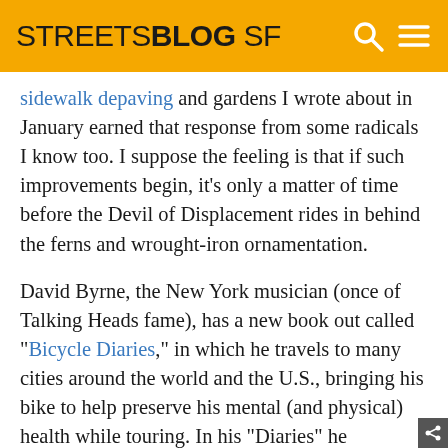STREETSBLOG SF
sidewalk depaving and gardens I wrote about in January earned that response from some radicals I know too. I suppose the feeling is that if such improvements begin, it's only a matter of time before the Devil of Displacement rides in behind the ferns and wrought-iron ornamentation.
David Byrne, the New York musician (once of Talking Heads fame), has a new book out called "Bicycle Diaries," in which he travels to many cities around the world and the U.S., bringing his bike to help preserve his mental (and physical) health while touring. In his "Diaries" he ruminates on many interesting questions of the role of art, history, urban design, and decries the role of freeways in destroying inner cities and